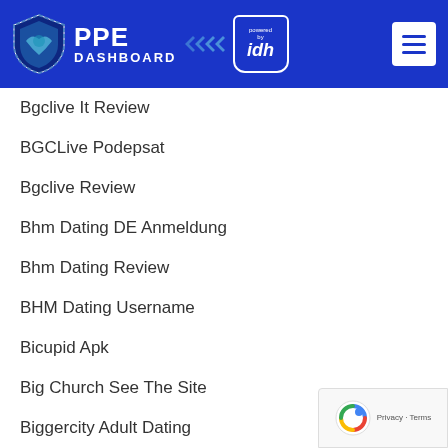PPE DASHBOARD powered by idh
Bgclive It Review
BGCLive Podepsat
Bgclive Review
Bhm Dating DE Anmeldung
Bhm Dating Review
BHM Dating Username
Bicupid Apk
Big Church See The Site
Biggercity Adult Dating